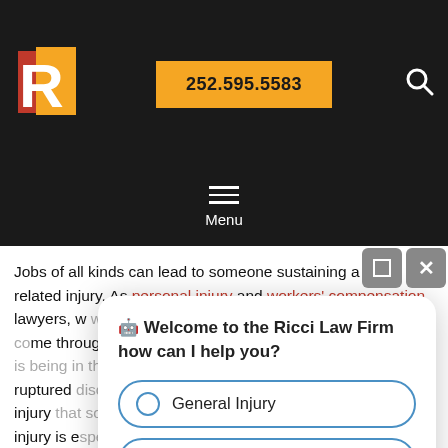[Figure (logo): Ricci Law Firm logo with red R and gold shape on black background]
252.595.5583
[Figure (other): Search magnifying glass icon]
[Figure (other): Hamburger menu icon with Menu label]
Jobs of all kinds can lead to someone sustaining a work related injury. As personal injury and workers' compensation lawyers, we see people from a wide range of professions come through our doors with a work related injury. All it takes is being in the wrong spot at the right time to experience a ruptured disc, one of the most common types of traumatic injuries that someone can sustain while on the job. This type of injury is especially prevalent locally due to all of the heavy industry jobs in the Greenville, NC and Pitt County.
[Figure (screenshot): Chat popup: Welcome to the Ricci Law Firm how can I help you? with options General Injury, Car Accident, Workplace Injury]
How a Ruptured Disc Happens While on the Job